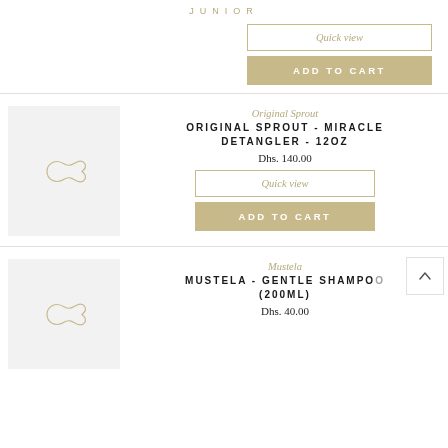JUNIOR
Quick view
ADD TO CART
Original Sprout
ORIGINAL SPROUT - MIRACLE DETANGLER - 12OZ
Dhs. 140.00
Quick view
ADD TO CART
Mustela
MUSTELA - GENTLE SHAMPOO (200ML)
Dhs. 40.00